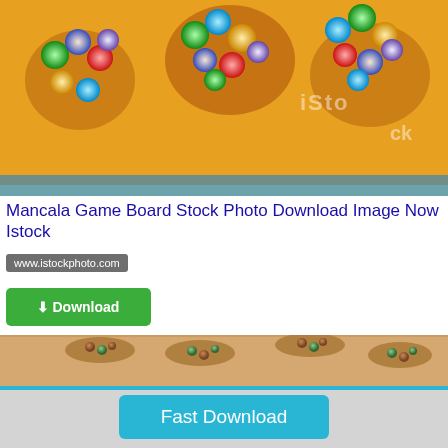[Figure (photo): Mancala game board with colorful glass marbles on a yellow/orange wooden board, with iStock watermark]
Mancala Game Board Stock Photo Download Image Now Istock
www.istockphoto.com
[Figure (illustration): Green Download button with download arrow icon]
[Figure (photo): Wooden folding mancala game board with colorful stones/gems in the cups]
[Figure (illustration): Fast Download button in cyan/blue color]